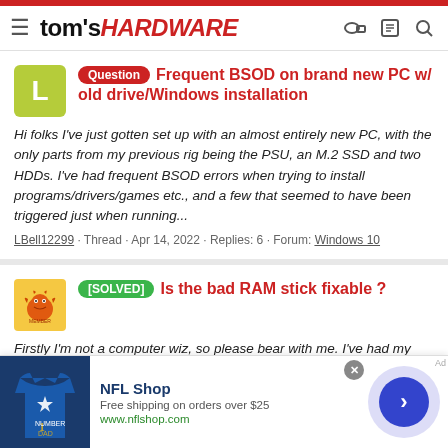tom's HARDWARE
Question  Frequent BSOD on brand new PC w/ old drive/Windows installation
Hi folks I've just gotten set up with an almost entirely new PC, with the only parts from my previous rig being the PSU, an M.2 SSD and two HDDs. I've had frequent BSOD errors when trying to install programs/drivers/games etc., and a few that seemed to have been triggered just when running...
LBell12299 · Thread · Apr 14, 2022 · Replies: 6 · Forum: Windows 10
[SOLVED]  Is the bad RAM stick fixable ?
Firstly I'm not a computer wiz, so please bear with me. I've had my computer for 4 years now with no major problems like this. Was working on the computer when it seemed to reboot itself
[Figure (infographic): NFL Shop advertisement banner with jersey image, free shipping offer text, www.nflshop.com URL, and a forward navigation arrow circle button]